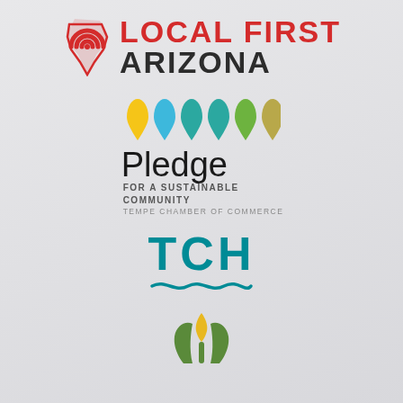[Figure (logo): Local First Arizona logo with red Arizona state shape and concentric arcs icon, red 'LOCAL FIRST' text and dark 'ARIZONA' text]
[Figure (logo): Pledge for a Sustainable Community - Tempe Chamber of Commerce logo with colorful teardrop shapes (yellow, blue, teal, teal, green, olive) above 'Pledge' text and subtitle 'FOR A SUSTAINABLE COMMUNITY TEMPE CHAMBER OF COMMERCE']
[Figure (logo): TCH logo in teal/cyan color with a decorative wave underline]
[Figure (logo): Partial bottom logo with green leaf and gold flame/crown icon]